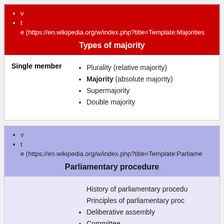v
t
e (https://en.wikipedia.org/w/index.php?title=Template:Majorities
Types of majority
Single member
Plurality (relative majority)
Majority (absolute majority)
Supermajority
Double majority
v
t
e (https://en.wikipedia.org/w/index.php?title=Template:Parliame
Parliamentary procedure
History of parliamentary procedure
Principles of parliamentary procedure
Deliberative assembly
Committee